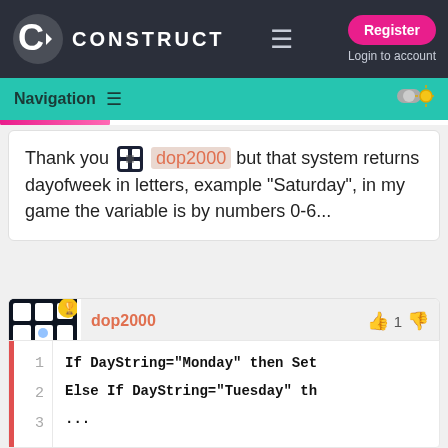CONSTRUCT — Register | Login to account
Navigation
Thank you dop2000 but that system returns dayofweek in letters, example "Saturday", in my game the variable is by numbers 0-6...
dop2000  👍 1 👎
Just add 7 events that convert strings to numbers.
1  If DayString="Monday" then Set
2  Else If DayString="Tuesday" th
3  ...